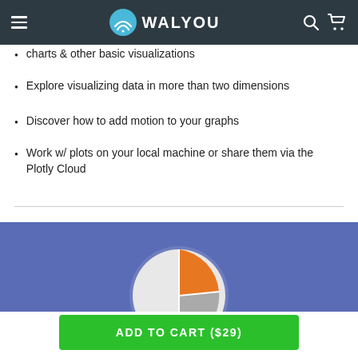WALYOU
charts & other basic visualizations
Explore visualizing data in more than two dimensions
Discover how to add motion to your graphs
Work w/ plots on your local machine or share them via the Plotly Cloud
Course Outline
[Figure (illustration): Blue banner with a circular chart/gauge icon (orange and grey pie slice visible), partially visible at bottom of page]
ADD TO CART ($29)